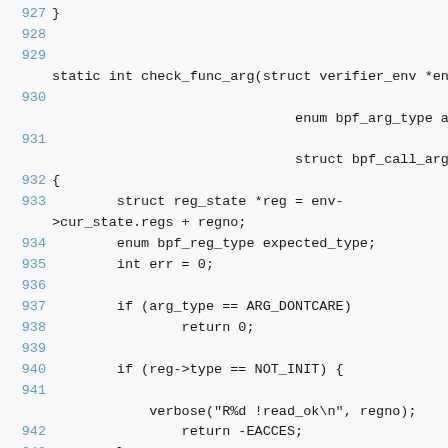Source code viewer showing C function check_func_arg, lines 927-946
927 }
928
929
static int check_func_arg(struct verifier_env *env, u32
930
                              enum bpf_arg_type arg_type,
931
                              struct bpf_call_arg_meta *meta
932 {
933         struct reg_state *reg = env->
cur_state.regs + regno;
934         enum bpf_reg_type expected_type;
935         int err = 0;
936
937         if (arg_type == ARG_DONTCARE)
938                 return 0;
939
940         if (reg->type == NOT_INIT) {
941
            verbose("R%d !read_ok\n", regno);
942                 return -EACCES;
943         }
944
945         if (arg_type == ARG_ANYTHING) {
946